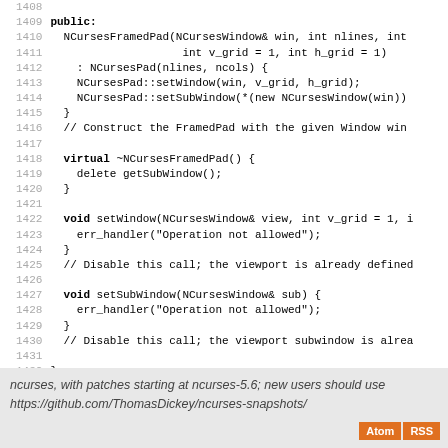Code listing lines 1408-1434: NCursesFramedPad class definition with constructor, destructor, setWindow and setSubWindow methods, ending with #endif directive.
ncurses, with patches starting at ncurses-5.6; new users should use https://github.com/ThomasDickey/ncurses-snapshots/